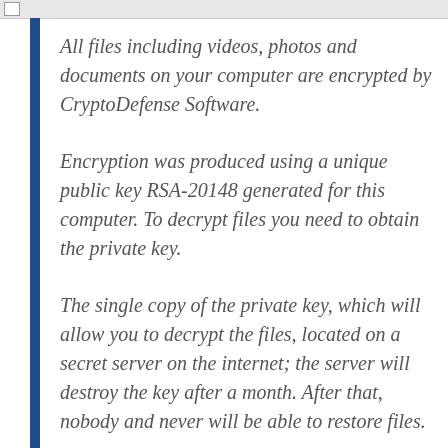All files including videos, photos and documents on your computer are encrypted by CryptoDefense Software.
Encryption was produced using a unique public key RSA-20148 generated for this computer. To decrypt files you need to obtain the private key.
The single copy of the private key, which will allow you to decrypt the files, located on a secret server on the internet; the server will destroy the key after a month. After that, nobody and never will be able to restore files.
In order to decrypt the files, open your